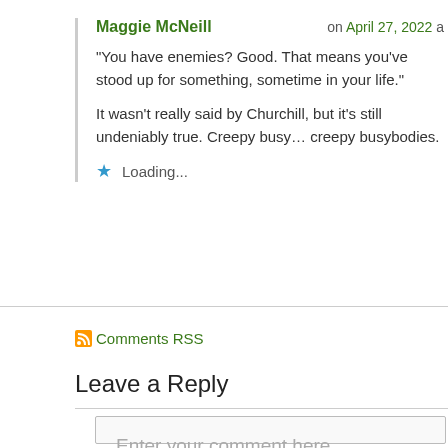Maggie McNeill — on April 27, 2022
“You have enemies? Good. That means you’ve stood up for something, sometime in your life.”
It wasn’t really said by Churchill, but it’s still undeniably true. Creepy busybodies have always been creepy busybodies.
Loading...
Comments RSS
Leave a Reply
Enter your comment here...